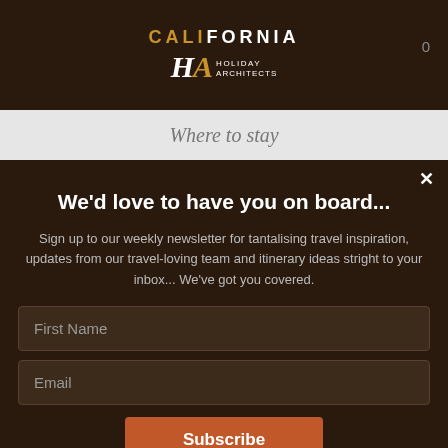CALIFORNIA HOLIDAY ARCHITECTS
Where to stay
We'd love to have you on board...
Sign up to our weekly newsletter for tantalising travel inspiration, updates from our travel-loving team and itinerary ideas stright to your inbox... We've got you covered.
First Name
Email
Subscribe
You can unsubscribe anytime. For more details, here's our Privacy Policy.